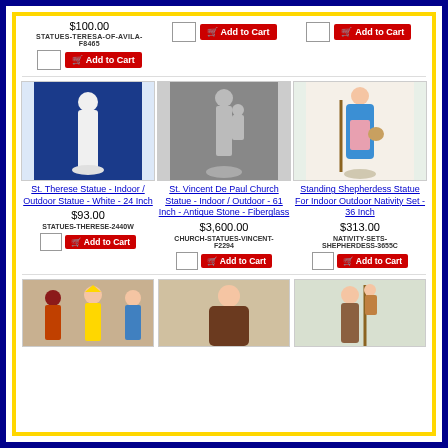$100.00
STATUES-TERESA-OF-AVILA-F8465
Add to Cart (top-left)
Add to Cart (top-right)
[Figure (photo): White statue of St. Therese against blue background]
St. Therese Statue - Indoor / Outdoor Statue - White - 24 Inch
$93.00
STATUES-THERESE-2440W
[Figure (photo): Gray stone-look statue of St. Vincent De Paul holding child]
St. Vincent De Paul Church Statue - Indoor / Outdoor - 61 Inch - Antique Stone - Fiberglass
$3,600.00
CHURCH-STATUES-VINCENT-F2294
[Figure (photo): Colorful statue of Standing Shepherdess in blue and pink clothing]
Standing Shepherdess Statue For Indoor Outdoor Nativity Set - 36 Inch
$313.00
NATIVITY-SETS-SHEPHERDESS-3655C
[Figure (photo): Three wise men nativity figures, colorful]
[Figure (photo): St. Pio / Padre Pio statue in brown robes]
[Figure (photo): Saint figure with child, outdoor nativity style]